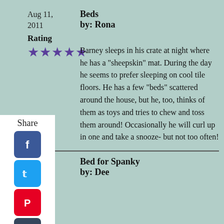Aug 11, 2011
Beds
by: Rona
Rating
★★★★★
Barney sleeps in his crate at night where he has a "sheepskin" mat. During the day he seems to prefer sleeping on cool tile floors. He has a few "beds" scattered around the house, but he, too, thinks of them as toys and tries to chew and toss them around! Occasionally he will curl up in one and take a snooze- but not too often!
Aug 11, 2011
Bed for Spanky
by: Dee